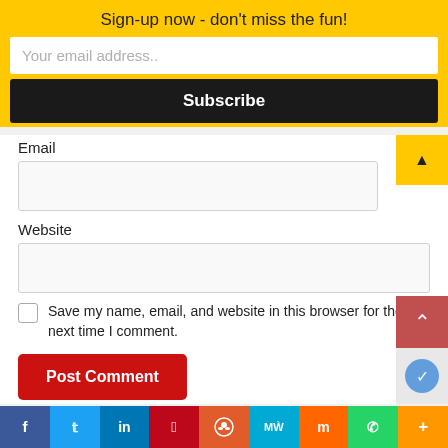Sign-up now - don't miss the fun!
Your email address..
Subscribe
Email
Website
Save my name, email, and website in this browser for the next time I comment.
Post Comment
[Figure (screenshot): Social share bar with icons: Facebook, Twitter, LinkedIn, Pinterest, Reddit, MeWe, Mix, WhatsApp, More]